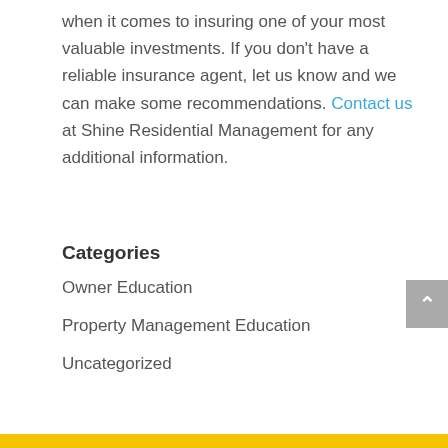when it comes to insuring one of your most valuable investments. If you don't have a reliable insurance agent, let us know and we can make some recommendations. Contact us at Shine Residential Management for any additional information.
Categories
Owner Education
Property Management Education
Uncategorized